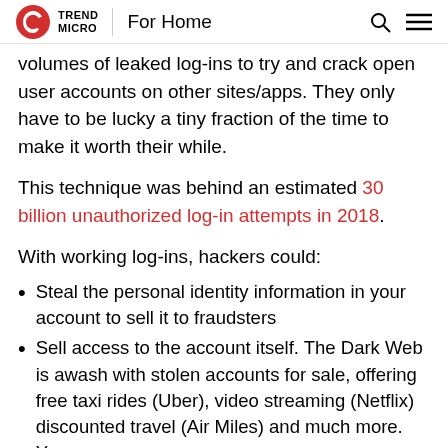TREND MICRO | For Home
volumes of leaked log-ins to try and crack open user accounts on other sites/apps. They only have to be lucky a tiny fraction of the time to make it worth their while.
This technique was behind an estimated 30 billion unauthorized log-in attempts in 2018.
With working log-ins, hackers could:
Steal the personal identity information in your account to sell it to fraudsters
Sell access to the account itself. The Dark Web is awash with stolen accounts for sale, offering free taxi rides (Uber), video streaming (Netflix) discounted travel (Air Miles) and much more. You